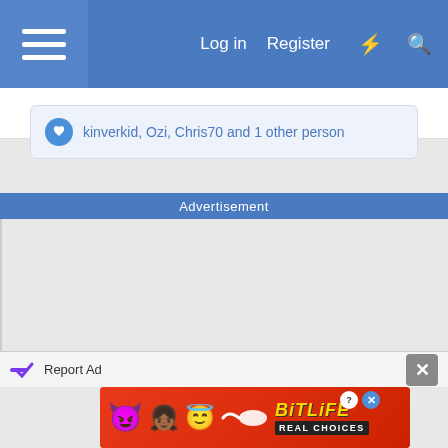Log in  Register
kinverkid, Ozi, Chris70 and 1 other person
Advertisement
[Figure (screenshot): Advertisement content area (blank/grey)]
Report Ad
[Figure (illustration): BitLife mobile app advertisement banner with devil emoji, girl emoji, angel emoji, sperm graphic, BitLife logo in yellow italic text, and 'REAL CHOICES' subtitle text on red background]